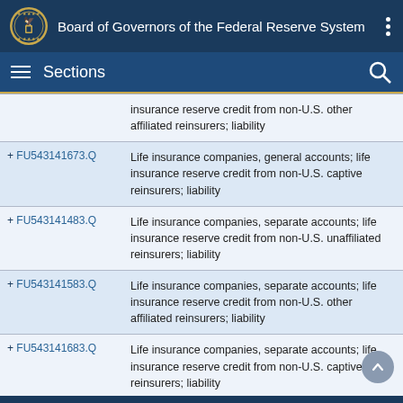Board of Governors of the Federal Reserve System
Sections
| Code | Description |
| --- | --- |
|  | insurance reserve credit from non-U.S. other affiliated reinsurers; liability |
| + FU543141673.Q | Life insurance companies, general accounts; life insurance reserve credit from non-U.S. captive reinsurers; liability |
| + FU543141483.Q | Life insurance companies, separate accounts; life insurance reserve credit from non-U.S. unaffiliated reinsurers; liability |
| + FU543141583.Q | Life insurance companies, separate accounts; life insurance reserve credit from non-U.S. other affiliated reinsurers; liability |
| + FU543141683.Q | Life insurance companies, separate accounts; life insurance reserve credit from non-U.S. captive reinsurers; liability |
Used in: